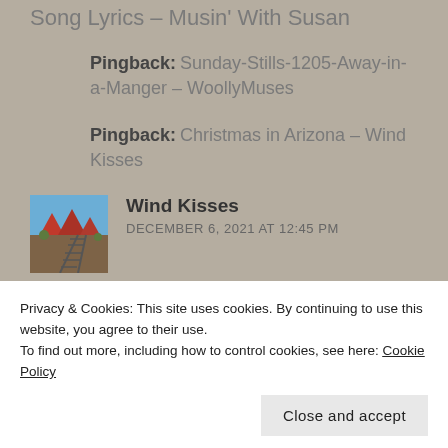Song Lyrics – Musin' With Susan
Pingback: Sunday-Stills-1205-Away-in-a-Manger – WoollyMuses
Pingback: Christmas in Arizona – Wind Kisses
Wind Kisses
DECEMBER 6, 2021 AT 12:45 PM
[Figure (photo): Avatar photo of Wind Kisses: desert landscape with red rock buttes and train tracks]
Privacy & Cookies: This site uses cookies. By continuing to use this website, you agree to their use.
To find out more, including how to control cookies, see here: Cookie Policy
Close and accept
attached to the song brought it to